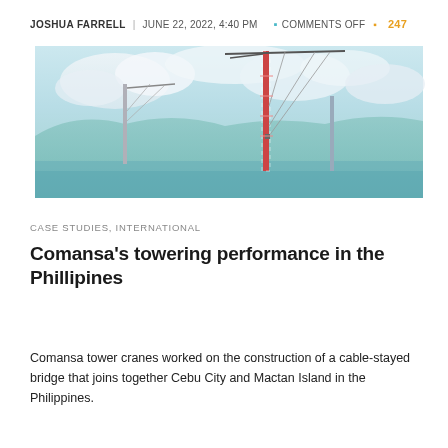JOSHUA FARRELL | JUNE 22, 2022, 4:40 PM   COMMENTS OFF   247
[Figure (photo): Construction cranes against a cloudy sky with a coastal/bridge construction scene in the Philippines.]
CASE STUDIES, INTERNATIONAL
Comansa's towering performance in the Phillipines
Comansa tower cranes worked on the construction of a cable-stayed bridge that joins together Cebu City and Mactan Island in the Philippines.